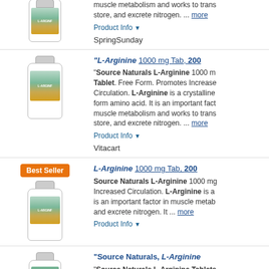[Figure (photo): Product bottle of L-Arginine supplement (top, partial)]
muscle metabolism and works to trans store, and excrete nitrogen. ... more
Product Info ▼
SpringSunday
[Figure (photo): Product bottle of Source Naturals L-Arginine 1000mg]
"L-Arginine 1000 mg Tab, 200
"Source Naturals L-Arginine 1000 m Tablet. Free Form. Promotes Increase Circulation. L-Arginine is a crystalline form amino acid. It is an important fact muscle metabolism and works to trans store, and excrete nitrogen. ... more
Product Info ▼
Vitacart
[Figure (photo): Best Seller badge and product bottle of L-Arginine 1000mg]
L-Arginine 1000 mg Tab, 200
Source Naturals L-Arginine 1000 mg Increased Circulation. L-Arginine is a is an important factor in muscle metab and excrete nitrogen. It ... more
Product Info ▼
[Figure (photo): Product bottle of Source Naturals L-Arginine (bottom)]
"Source Naturals, L-Arginine
"Source Naturals L-Arginine Tablets Increased Circulation. Dietary Supplem amino acid. It is an important factor in store, ... more